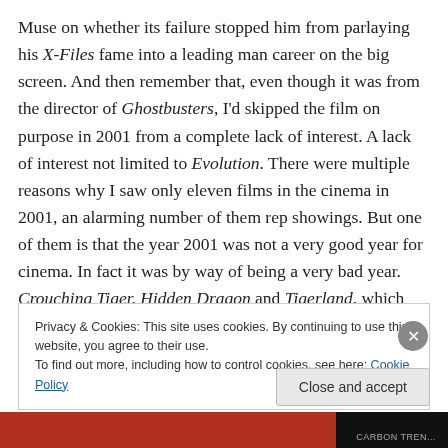Muse on whether its failure stopped him from parlaying his X-Files fame into a leading man career on the big screen. And then remember that, even though it was from the director of Ghostbusters, I'd skipped the film on purpose in 2001 from a complete lack of interest. A lack of interest not limited to Evolution. There were multiple reasons why I saw only eleven films in the cinema in 2001, an alarming number of them rep showings. But one of them is that the year 2001 was not a very good year for cinema. In fact it was by way of being a very bad year. Crouching Tiger, Hidden Dragon and Tigerland, which were 2001 highlights
Privacy & Cookies: This site uses cookies. By continuing to use this website, you agree to their use.
To find out more, including how to control cookies, see here: Cookie Policy
Close and accept